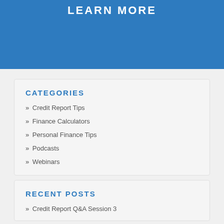[Figure (other): Blue banner with 'LEARN MORE' text in white uppercase bold letters]
CATEGORIES
» Credit Report Tips
» Finance Calculators
» Personal Finance Tips
» Podcasts
» Webinars
RECENT POSTS
» Credit Report Q&A Session 3